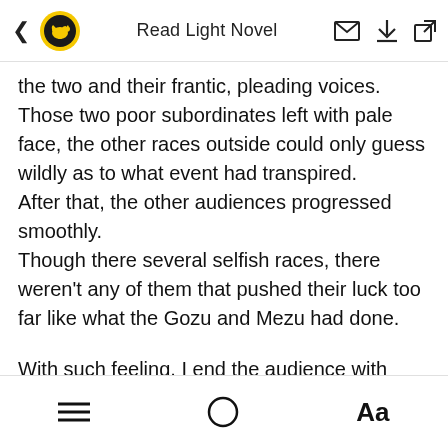Read Light Novel
the two and their frantic, pleading voices.
Those two poor subordinates left with pale face, the other races outside could only guess wildly as to what event had transpired.
After that, the other audiences progressed smoothly.
Though there several selfish races, there weren't any of them that pushed their luck too far like what the Gozu and Mezu had done.
With such feeling, I end the audience with me........
But, the people who were having the last audience were bringing a problem.
≡  ◑  Aa